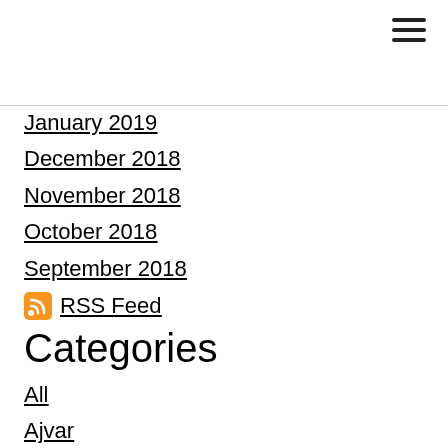January 2019
December 2018
November 2018
October 2018
September 2018
RSS Feed
Categories
All
Ajvar
Alcohol
Appetizers
Bacon
Beans
Beef
Beverages
Bowls